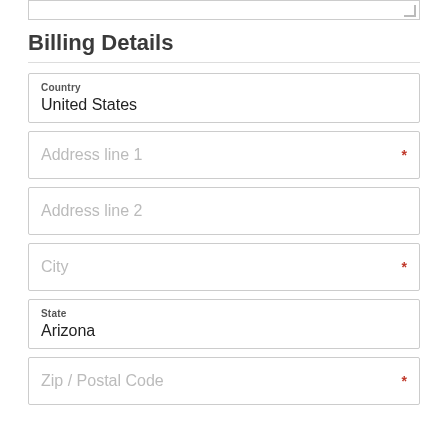Billing Details
Country
United States
Address line 1 *
Address line 2
City *
State
Arizona
Zip / Postal Code *